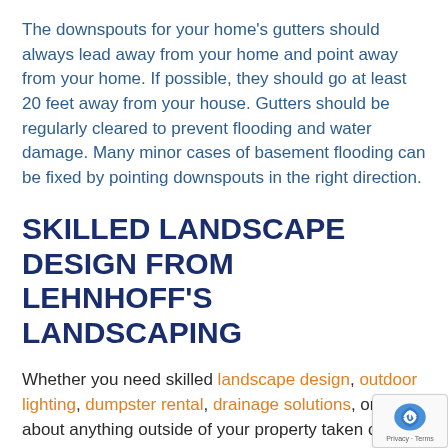The downspouts for your home's gutters should always lead away from your home and point away from your home. If possible, they should go at least 20 feet away from your house. Gutters should be regularly cleared to prevent flooding and water damage. Many minor cases of basement flooding can be fixed by pointing downspouts in the right direction.
SKILLED LANDSCAPE DESIGN FROM LEHNHOFF'S LANDSCAPING
Whether you need skilled landscape design, outdoor lighting, dumpster rental, drainage solutions, or just about anything outside of your property taken care of, call professionals at Lehnhoff's Landscaping. We pride ourselves on our fantastic customer service, quality work,